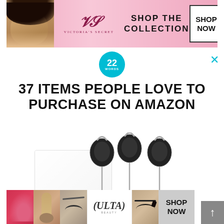[Figure (photo): Victoria's Secret advertisement banner with woman's face and pink gradient background, 'SHOP THE COLLECTION' text and SHOP NOW button]
[Figure (logo): 22 Words circular teal badge logo]
37 ITEMS PEOPLE LOVE TO PURCHASE ON AMAZON
[Figure (photo): Product photo of portable silicone travel bottles set with retractable badge clips - green, blue, and white/clear bottles with black oval retractors]
[Figure (photo): Second repeated 22 Words badge logo and article header with background image]
37 ITEMS PEOPLE LOVE TO PURCHASE ON AMAZON
[Figure (photo): CLOSE button overlay]
[Figure (photo): Ulta Beauty advertisement banner with makeup/beauty images and SHOP NOW button]
[Figure (other): Scroll to top arrow button (grey square with upward arrow)]